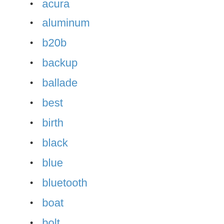acura
aluminum
b20b
backup
ballade
best
birth
black
blue
bluetooth
boat
bolt
book
bore
brand
brembo
bulb
carburetor
ccfl
chevy
chips
chrome